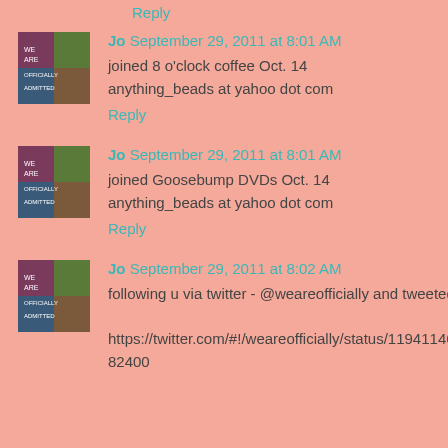Reply
Jo  September 29, 2011 at 8:01 AM
joined 8 o'clock coffee Oct. 14
anything_beads at yahoo dot com
Reply
Jo  September 29, 2011 at 8:01 AM
joined Goosebump DVDs Oct. 14
anything_beads at yahoo dot com
Reply
Jo  September 29, 2011 at 8:02 AM
following u via twitter - @weareofficially and tweeted
https://twitter.com/#!/weareofficially/status/119411469166182400